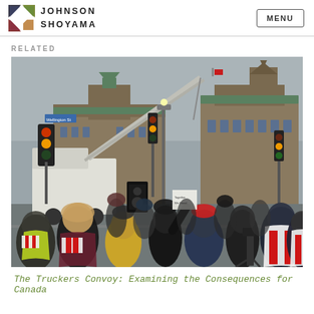JOHNSON SHOYAMA | MENU
RELATED
[Figure (photo): Outdoor crowd scene in Ottawa near Parliament Hill during the Truckers Convoy protest. People wearing winter coats, some draped in Canadian flags. A large truck with a crane arm is visible in the background, along with traffic lights, street signs, and the Gothic architecture of the Parliament buildings. Grey overcast sky.]
The Truckers Convoy: Examining the Consequences for Canada